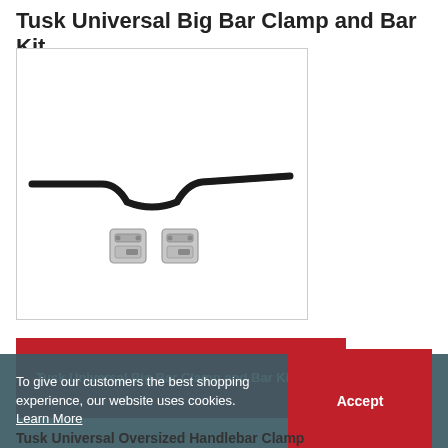Tusk Universal Big Bar Clamp and Bar Kit
[Figure (photo): Product photo of a black motorcycle handlebar (big bar) with two silver handlebar clamps below it, on a white background, inside a light grey bordered box.]
Tusk Universal Big Bar Clamp and Bar Kit
To give our customers the best shopping experience, our website uses cookies. Learn More
Tusk Universal Oversized Handlebar Clamp